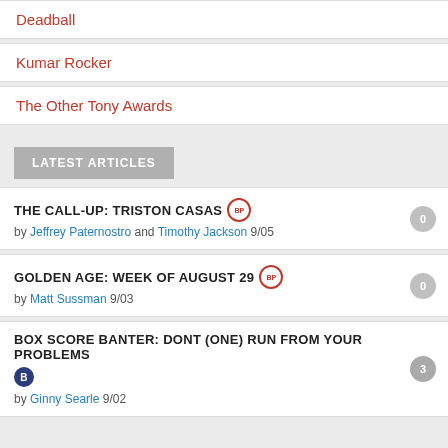Deadball
Kumar Rocker
The Other Tony Awards
LATEST ARTICLES
THE CALL-UP: TRISTON CASAS [BP] by Jeffrey Paternostro and Timothy Jackson 9/05
GOLDEN AGE: WEEK OF AUGUST 29 [BP] by Matt Sussman 9/03
BOX SCORE BANTER: DONT (ONE) RUN FROM YOUR PROBLEMS [B] by Ginny Searle 9/02
RELATED ARTICLES